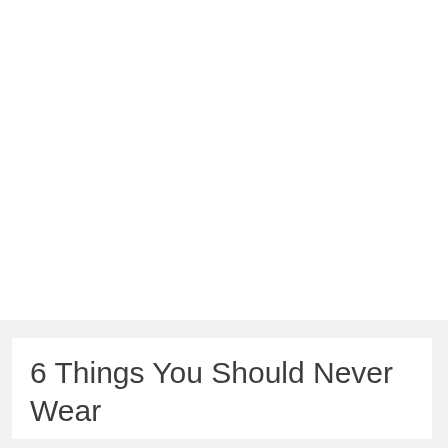6 Things You Should Never Wear